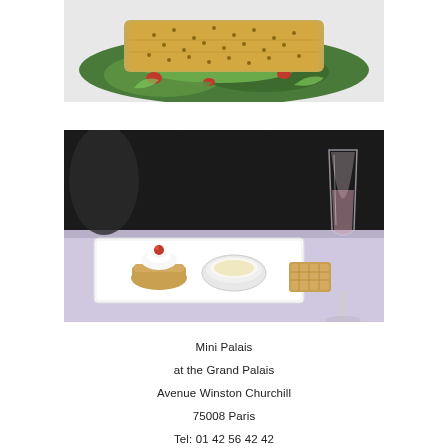[Figure (photo): Top portion of a food photo showing a breaded/sesame-crusted item on a bed of green salad leaves with red tomato pieces, on a white plate]
[Figure (photo): Dessert plate on a light purple tablecloth with a small tartlet topped with whipped cream and a raspberry, a white bowl with cream/sauce, and a small pastry slice; a champagne flute with pink drink is visible on the right]
Mini Palais
at the Grand Palais
Avenue Winston Churchill
75008 Paris
Tel: 01 42 56 42 42
Open everyday, 10am - 2am